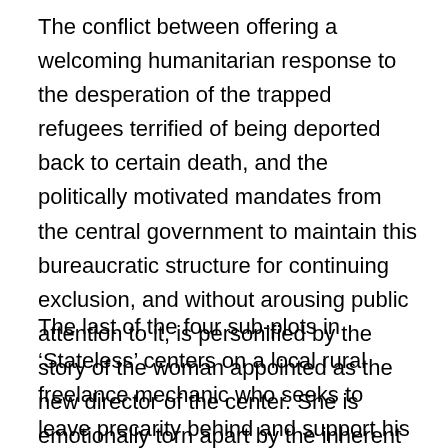The conflict between offering a welcoming humanitarian response to the desperation of the trapped refugees terrified of being deported back to certain death, and the politically motivated mandates from the central government to maintain this bureaucratic structure for continuing exclusion, and without arousing public attention to it, is personified by the story of the woman appointed as the new director of the center. She is emotionally torn apart by the inherent cruelty of the job, and her political expendability to the remote higher-ups.
The last of the four sub-plots in ‘Stateless’ centers on a local rural freelance mechanic who seeks to leave precarity behind and support his young family with a steady paycheck earned working as a ‘prison’ guard at the detention center — though he is instructed that it is a refugee center and not a prison since its residents, despite